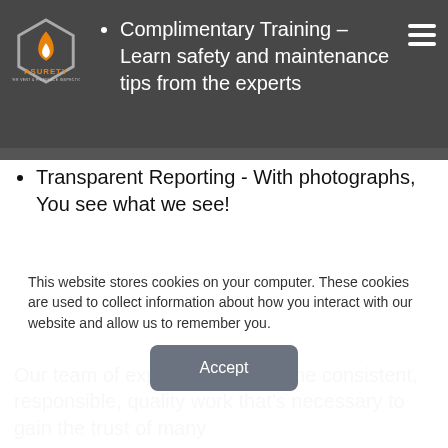[Figure (logo): Asurety Dryer Vent & Fireplace Inspections logo — hexagon shape with flame icon in orange and white, company name in orange text below]
Complimentary Training – Learn safety and maintenance tips from the experts
Transparent Reporting - With photographs, You see what we see!
Our team of experts has put in the consistent, responsible, quality work that's necessary to gain the trust of many
This website stores cookies on your computer. These cookies are used to collect information about how you interact with our website and allow us to remember you.